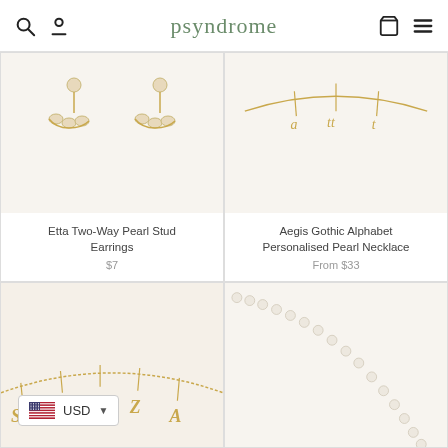psyndrome
[Figure (photo): Etta Two-Way Pearl Stud Earrings product photo on cream background]
[Figure (photo): Aegis Gothic Alphabet Personalised Pearl Necklace product photo showing gold gothic letter charms on cream background]
Etta Two-Way Pearl Stud Earrings
$7
Aegis Gothic Alphabet Personalised Pearl Necklace
From $33
[Figure (photo): Gold letter charm bracelet with letters S, Y, A, Z, A on gold chain]
[Figure (photo): Pearl strand necklace on cream background]
USD